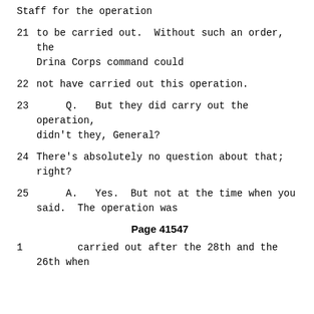Staff for the operation
21     to be carried out.  Without such an order, the Drina Corps command could
22     not have carried out this operation.
23        Q.   But they did carry out the operation, didn't they, General?
24     There's absolutely no question about that; right?
25        A.   Yes.  But not at the time when you said.  The operation was
Page 41547
1        carried out after the 28th and the 26th when